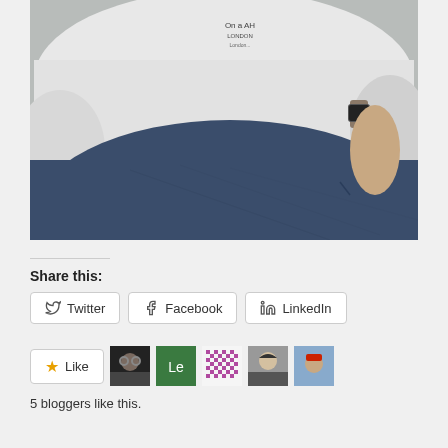[Figure (photo): Close-up photo of a person wearing a white sweatshirt with text 'On a AH London' and an Apple Watch, sitting with dark blue jeans visible.]
Share this:
Twitter  Facebook  LinkedIn
Like  5 bloggers like this.